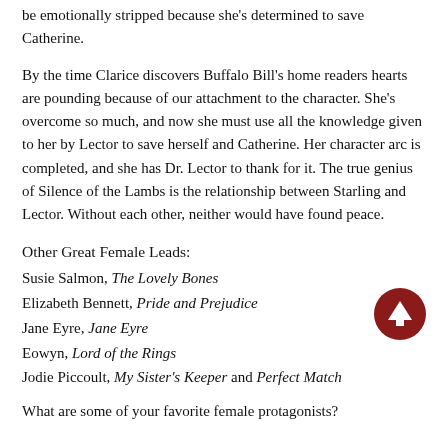be emotionally stripped because she's determined to save Catherine.
By the time Clarice discovers Buffalo Bill's home readers hearts are pounding because of our attachment to the character. She's overcome so much, and now she must use all the knowledge given to her by Lector to save herself and Catherine. Her character arc is completed, and she has Dr. Lector to thank for it. The true genius of Silence of the Lambs is the relationship between Starling and Lector. Without each other, neither would have found peace.
Other Great Female Leads:
Susie Salmon, The Lovely Bones
Elizabeth Bennett, Pride and Prejudice
Jane Eyre, Jane Eyre
Eowyn, Lord of the Rings
Jodie Piccoult, My Sister's Keeper and Perfect Match
What are some of your favorite female protagonists?